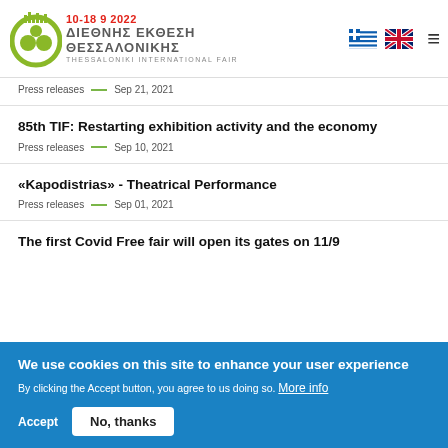Thessaloniki International Fair — 10-18 9 2022
Press releases — Sep 21, 2021
85th TIF: Restarting exhibition activity and the economy
Press releases — Sep 10, 2021
«Kapodistrias» - Theatrical Performance
Press releases — Sep 01, 2021
The first Covid Free fair will open its gates on 11/9
We use cookies on this site to enhance your user experience
By clicking the Accept button, you agree to us doing so. More info
Accept   No, thanks